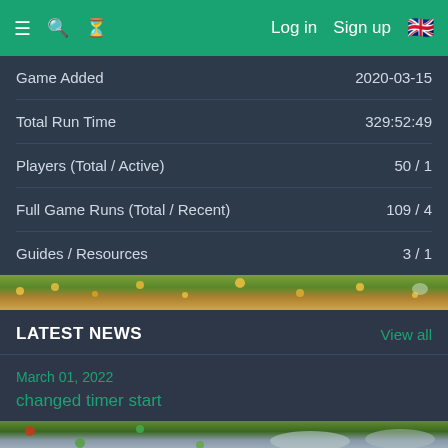≡  🔍  ⏳  Log in  Sign up  🇬🇧
|  |  |
| --- | --- |
| Game Added | 2020-03-15 |
| Total Run Time | 329:52:49 |
| Players (Total / Active) | 50 / 1 |
| Full Game Runs (Total / Recent) | 109 / 4 |
| Guides / Resources | 3 / 1 |
[Figure (illustration): Game banner strip with yellow flowers and brown/green terrain]
LATEST NEWS
View all
March 01, 2022
changed timer start
[Figure (illustration): Game banner strip with colorful terrain and gray/blue pond area]
RECENT RUNS
Rank  Player  Time  Category